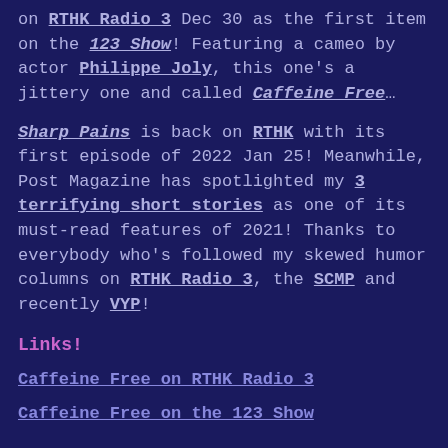on RTHK Radio 3 Dec 30 as the first item on the 123 Show! Featuring a cameo by actor Philippe Joly, this one's a jittery one and called Caffeine Free…
Sharp Pains is back on RTHK with its first episode of 2022 Jan 25! Meanwhile, Post Magazine has spotlighted my 3 terrifying short stories as one of its must-read features of 2021! Thanks to everybody who's followed my skewed humor columns on RTHK Radio 3, the SCMP and recently VYP!
Links!
Caffeine Free on RTHK Radio 3
Caffeine Free on the 123 Show